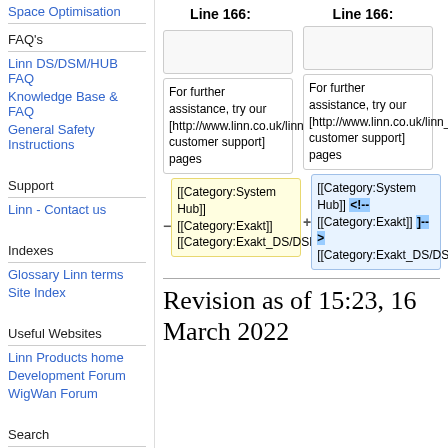Space Optimisation
FAQ's
Linn DS/DSM/HUB FAQ
Knowledge Base & FAQ
General Safety Instructions
Support
Linn - Contact us
Indexes
Glossary Linn terms
Site Index
Useful Websites
Linn Products home
Development Forum
WigWan Forum
Search
Categories
Search
Line 166:
Line 166:
For further assistance, try our [http://www.linn.co.uk/linn_customer_support customer support] pages
For further assistance, try our [http://www.linn.co.uk/linn_customer_support customer support] pages
[[Category:System Hub]] [[Category:Exakt]] [[Category:Exakt_DS/DSM/HUB]]
[[Category:System Hub]] <!-- [[Category:Exakt]] --> [[Category:Exakt_DS/DSM/HUB]]
Revision as of 15:23, 16 March 2022